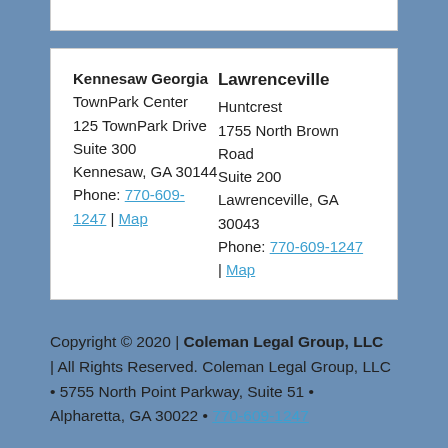| Kennesaw Georgia | Lawrenceville |
| --- | --- |
| TownPark Center | Huntcrest |
| 125 TownPark Drive | 1755 North Brown Road |
| Suite 300 | Suite 200 |
| Kennesaw, GA 30144 | Lawrenceville, GA 30043 |
| Phone: 770-609-1247 | Map | Phone: 770-609-1247 | Map |
Copyright © 2020 | Coleman Legal Group, LLC | All Rights Reserved. Coleman Legal Group, LLC • 5755 North Point Parkway, Suite 51 • Alpharetta, GA 30022 • 770-609-1247